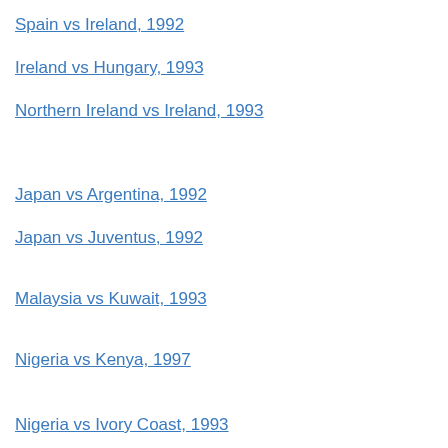Spain vs Ireland, 1992
Ireland vs Hungary, 1993
Northern Ireland vs Ireland, 1993
Japan vs Argentina, 1992
Japan vs Juventus, 1992
Malaysia vs Kuwait, 1993
Nigeria vs Kenya, 1997
Nigeria vs Ivory Coast, 1993